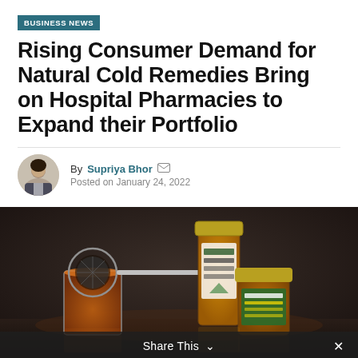BUSINESS NEWS
Rising Consumer Demand for Natural Cold Remedies Bring on Hospital Pharmacies to Expand their Portfolio
By Supriya Bhor
Posted on January 24, 2022
[Figure (photo): Dark background photo showing natural cold remedy items: a glass tea infuser with herbal tea, a strainer, and two honey jars with labels, arranged on a dark reflective surface.]
Share This